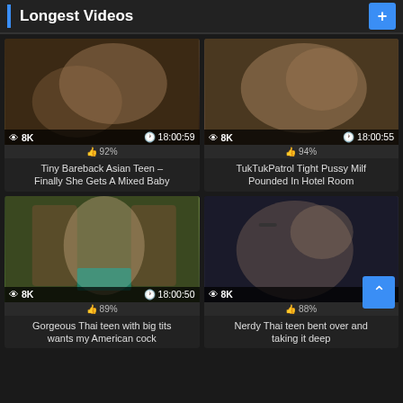Longest Videos
[Figure (screenshot): Video thumbnail 1 - 8K views, 18:00:59, 92% likes]
Tiny Bareback Asian Teen – Finally She Gets A Mixed Baby
[Figure (screenshot): Video thumbnail 2 - 8K views, 18:00:55, 94% likes]
TukTukPatrol Tight Pussy Milf Pounded In Hotel Room
[Figure (screenshot): Video thumbnail 3 - 8K views, 18:00:50, 89% likes]
Gorgeous Thai teen with big tits wants my American cock
[Figure (screenshot): Video thumbnail 4 - 8K views, 0:48, 88% likes]
Nerdy Thai teen bent over and taking it deep